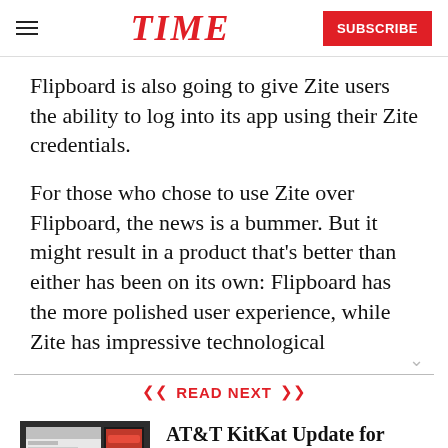TIME | SUBSCRIBE
Flipboard is also going to give Zite users the ability to log into its app using their Zite credentials.
For those who chose to use Zite over Flipboard, the news is a bummer. But it might result in a product that's better than either has been on its own: Flipboard has the more polished user experience, while Zite has impressive technological
READ NEXT
[Figure (screenshot): Thumbnail screenshot of an article about AT&T KitKat Update for HTC One]
AT&T KitKat Update for HTC One: Now with a Side of Bloatware